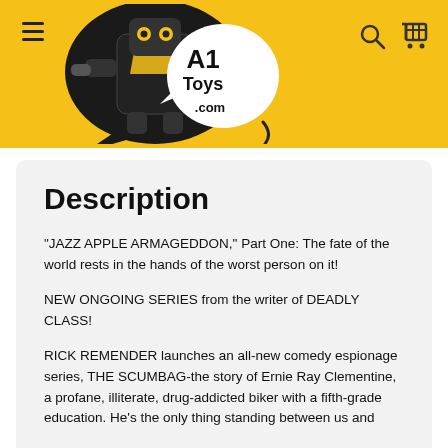[Figure (logo): A1Toys.com logo with a robot character in a speech bubble on a yellow background]
Description
"JAZZ APPLE ARMAGEDDON," Part One: The fate of the world rests in the hands of the worst person on it!
NEW ONGOING SERIES from the writer of DEADLY CLASS!
RICK REMENDER launches an all-new comedy espionage series, THE SCUMBAG-the story of Ernie Ray Clementine, a profane, illiterate, drug-addicted biker with a fifth-grade education. He's the only thing standing between us and